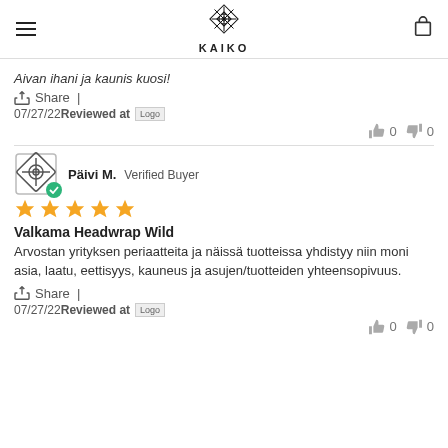KAIKO
Aivan ihani ja kaunis kuosi!
Share |
07/27/22 Reviewed at Logo
0  0
Päivi M.  Verified Buyer
★★★★★
Valkama Headwrap Wild
Arvostan yrityksen periaatteita ja näissä tuotteissa yhdistyy niin moni asia, laatu, eettisyys, kauneus ja asujen/tuotteiden yhteensopivuus.
Share |
07/27/22 Reviewed at Logo
0  0